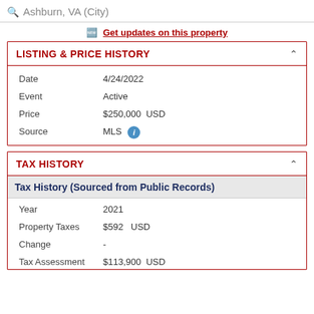Ashburn, VA (City)
Get updates on this property
LISTING & PRICE HISTORY
| Field | Value |
| --- | --- |
| Date | 4/24/2022 |
| Event | Active |
| Price | $250,000  USD |
| Source | MLS |
TAX HISTORY
| Field | Value |
| --- | --- |
| Year | 2021 |
| Property Taxes | $592   USD |
| Change | - |
| Tax Assessment | $113,900  USD |